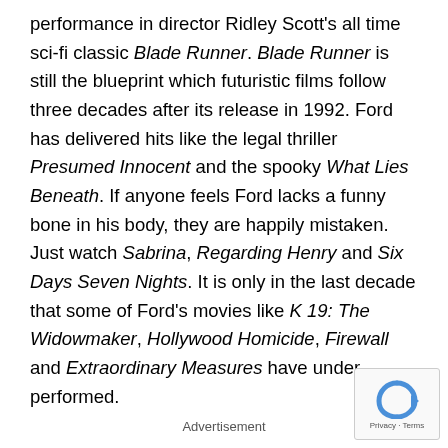performance in director Ridley Scott's all time sci-fi classic Blade Runner. Blade Runner is still the blueprint which futuristic films follow three decades after its release in 1992. Ford has delivered hits like the legal thriller Presumed Innocent and the spooky What Lies Beneath. If anyone feels Ford lacks a funny bone in his body, they are happily mistaken. Just watch Sabrina, Regarding Henry and Six Days Seven Nights. It is only in the last decade that some of Ford's movies like K 19: The Widowmaker, Hollywood Homicide, Firewall and Extraordinary Measures have under performed.
Advertisement